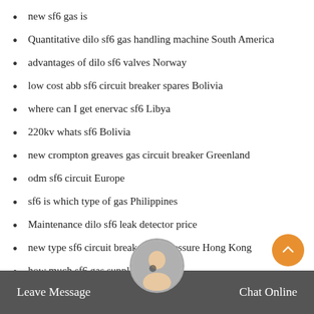new sf6 gas is
Quantitative dilo sf6 gas handling machine South America
advantages of dilo sf6 valves Norway
low cost abb sf6 circuit breaker spares Bolivia
where can I get enervac sf6 Libya
220kv whats sf6 Bolivia
new crompton greaves gas circuit breaker Greenland
odm sf6 circuit Europe
sf6 is which type of gas Philippines
Maintenance dilo sf6 leak detector price
new type sf6 circuit breaker gas pressure Hong Kong
how much sf6 gas suppliers Pakistan
Brochure 245 kv sf6 circuit breaker Japan
order sf6 gas price South America
Leave Message   Chat Online